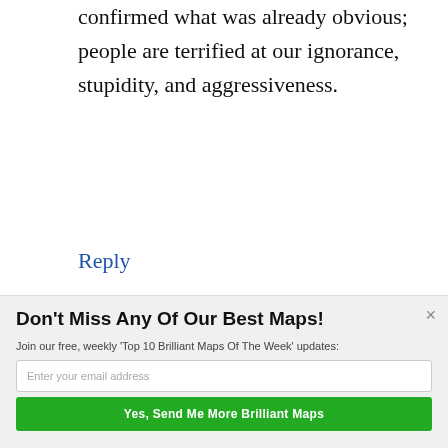confirmed what was already obvious; people are terrified at our ignorance, stupidity, and aggressiveness.
Reply
Andrew Meyer says
February 6, 2018 at 1:17 am
[Figure (logo): POWERED BY SUMO logo badge]
Don't Miss Any Of Our Best Maps!
Join our free, weekly 'Top 10 Brilliant Maps Of The Week' updates:
Enter your email address
Yes, Send Me More Brilliant Maps